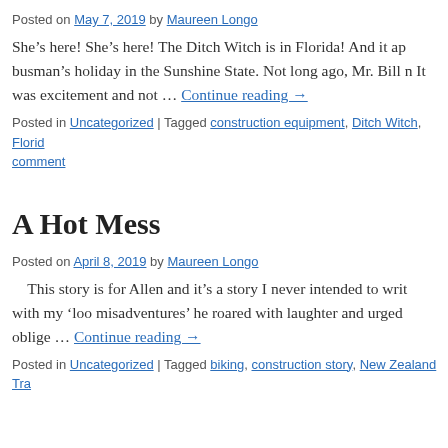Posted on May 7, 2019 by Maureen Longo
She’s here! She’s here! The Ditch Witch is in Florida! And it ap busman’s holiday in the Sunshine State. Not long ago, Mr. Bill n It was excitement and not … Continue reading →
Posted in Uncategorized | Tagged construction equipment, Ditch Witch, Floric comment
A Hot Mess
Posted on April 8, 2019 by Maureen Longo
This story is for Allen and it’s a story I never intended to writ with my ‘loo misadventures’ he roared with laughter and urged oblige … Continue reading →
Posted in Uncategorized | Tagged biking, construction story, New Zealand Tra
The Naughty Little Digger